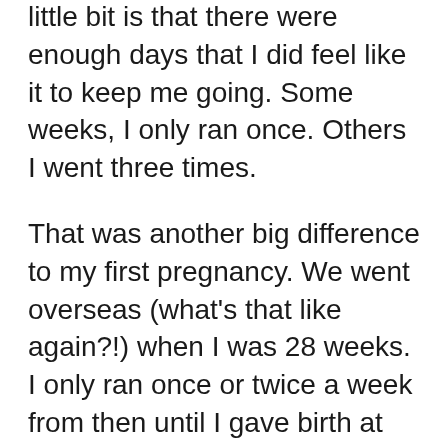little bit is that there were enough days that I did feel like it to keep me going. Some weeks, I only ran once. Others I went three times.
That was another big difference to my first pregnancy. We went overseas (what's that like again?!) when I was 28 weeks. I only ran once or twice a week from then until I gave birth at 37 weeks. By the end, I was really just down to parkrun once a week.
This time, being at home definitely made a difference. In the last five or six years, I've put a lot of emphasis on running for habit and routine. When I haven't been training for an